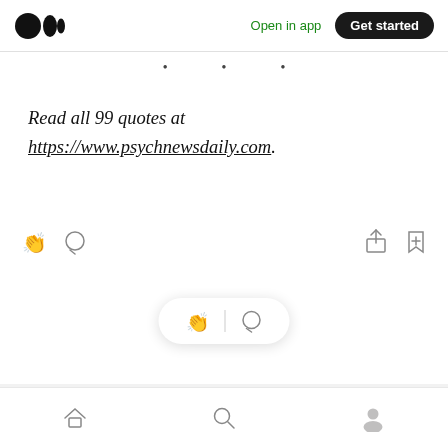[Figure (screenshot): Medium app top navigation bar with logo, 'Open in app' link and 'Get started' button]
· · ·
Read all 99 quotes at https://www.psychnewsdaily.com.
[Figure (screenshot): Article action icons: clap, comment on left; share, bookmark-plus on right]
[Figure (screenshot): Floating pill with clap and comment icons]
[Figure (screenshot): Bottom navigation bar with home, search, and profile icons]